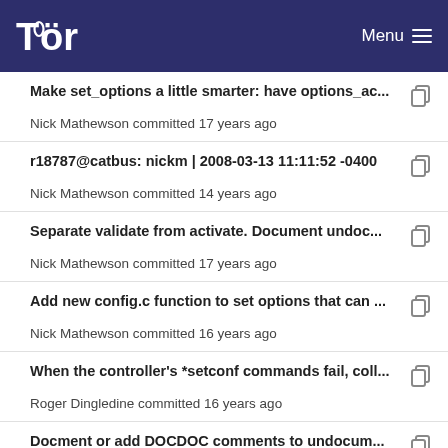Tor — Menu
Make set_options a little smarter: have options_ac...
Nick Mathewson committed 17 years ago
r18787@catbus: nickm | 2008-03-13 11:11:52 -0400
Nick Mathewson committed 14 years ago
Separate validate from activate. Document undoc...
Nick Mathewson committed 17 years ago
Add new config.c function to set options that can ...
Nick Mathewson committed 16 years ago
When the controller's *setconf commands fail, coll...
Roger Dingledine committed 16 years ago
Docment or add DOCDOC comments to undocum...
Nick Mathewson committed 17 years ago
Emits CONF_CHANGED events whenever Tor's co...
Kamran Riaz Khan committed 11 years ago